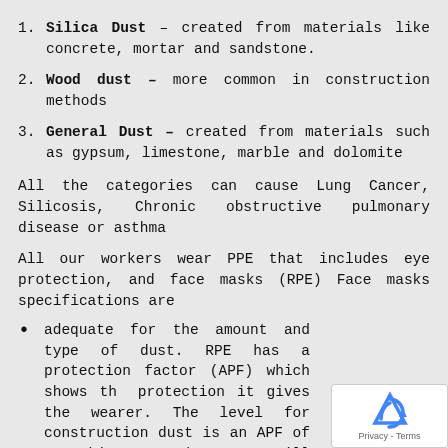Silica Dust – created from materials like concrete, mortar and sandstone.
Wood dust – more common in construction methods
General Dust – created from materials such as gypsum, limestone, marble and dolomite
All the categories can cause Lung Cancer, Silicosis, Chronic obstructive pulmonary disease or asthma
All our workers wear PPE that includes eye protection, and face masks (RPE) Face masks specifications are
adequate for the amount and type of dust. RPE has a protection factor (APF) which shows the protection it gives the wearer. The level for construction dust is an APF of 20. This means the wearer will only breathe in a twentieth of the